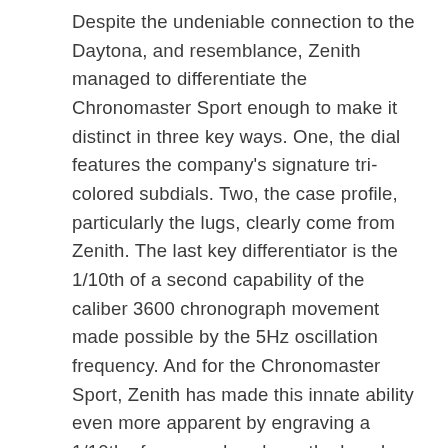Despite the undeniable connection to the Daytona, and resemblance, Zenith managed to differentiate the Chronomaster Sport enough to make it distinct in three key ways. One, the dial features the company's signature tri-colored subdials. Two, the case profile, particularly the lugs, clearly come from Zenith. The last key differentiator is the 1/10th of a second capability of the caliber 3600 chronograph movement made possible by the 5Hz oscillation frequency. And for the Chronomaster Sport, Zenith has made this innate ability even more apparent by engraving a 1/10th of a second scale on the bezel, allowing 0.10 of a second precision to be calculated with utter ease. In conjunction with the center chronograph tenths of a second hand that circles the entire dial in 10 seconds when the stopwatch is activated — you simply stop the chrono and read the fraction of second off the bezel.